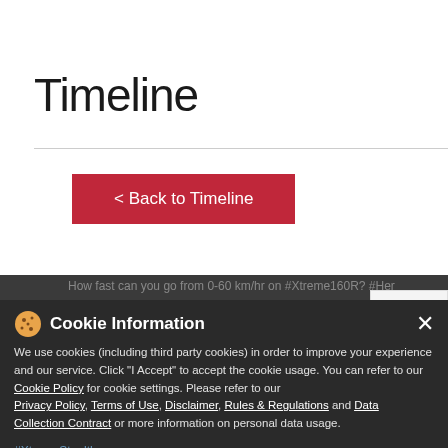Timeline
< Back to Timeline
[Figure (screenshot): App store icons panel with Android (green robot) and Apple (apple logo) icons on white/light grey background]
How fast can you go from 0-60 km/hr on #Xtreme160R? #HeroMotoCorp #StealthMode #XtremeStealth #Ride #BikeRide #Speed #Fastest
Cookie Information
We use cookies (including third party cookies) in order to improve your experience and our service. Click "I Accept" to accept the cookie usage. You can refer to our Cookie Policy for cookie settings. Please refer to our Privacy Policy, Terms of Use, Disclaimer, Rules & Regulations and Data Collection Contract or more information on personal data usage.
#XtremeStealth
#Ride
#BikeRide
I ACCEPT